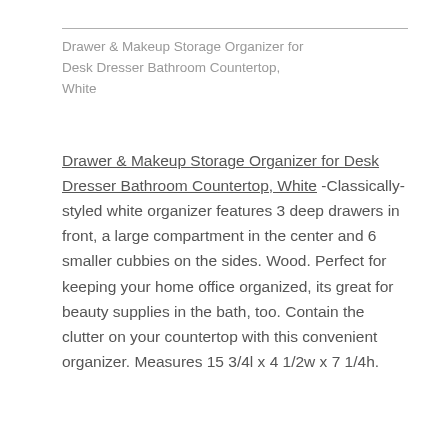Drawer & Makeup Storage Organizer for Desk Dresser Bathroom Countertop, White
Drawer & Makeup Storage Organizer for Desk Dresser Bathroom Countertop, White -Classically-styled white organizer features 3 deep drawers in front, a large compartment in the center and 6 smaller cubbies on the sides. Wood. Perfect for keeping your home office organized, its great for beauty supplies in the bath, too. Contain the clutter on your countertop with this convenient organizer. Measures 15 3/4l x 4 1/2w x 7 1/4h.